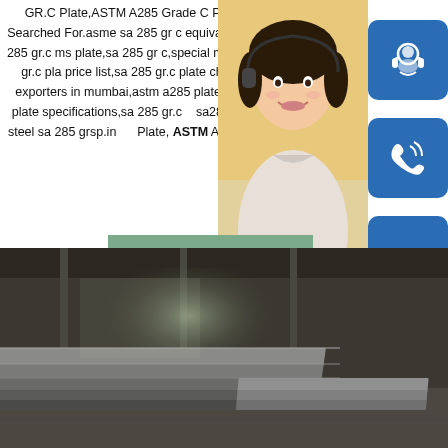GR.C Plate,ASTM A285 Grade C Plates,People Searched For.asme sa 285 gr c equivalent material,sa 285 gr.c ms plate,sa 285 gr c,special mild steel sa 285 gr.c pla price list,sa 285 gr.c plate chemical comp exporters in mumbai,astm a285 plates,sa 285 gr.c plate specifications,sa 285 gr.c sa285 plate,carbon steel sa 285 grsp.in Plate, ASTM A285 Grade C ...
[Figure (photo): Customer service representative woman with headset, smiling]
[Figure (infographic): Blue rounded square icon with headset/support symbol]
[Figure (infographic): Blue rounded square icon with phone/call symbol]
[Figure (infographic): Blue rounded square icon with Skype symbol]
READ MORE
MANUAL SE
QUOTING O
bsteel1@163.com
[Figure (photo): Industrial warehouse interior with stacked carbon steel plates on the floor]